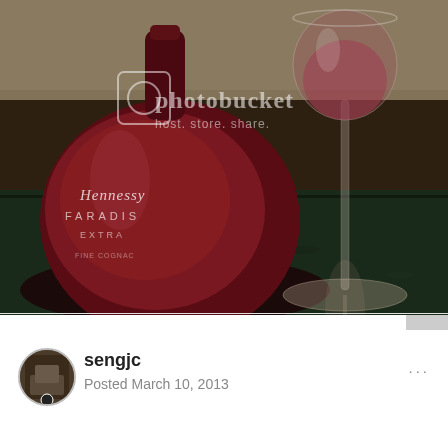[Figure (photo): A Hennessy Paradis Extra cognac bottle and a wine glass with dark red/rosé liquid, both sitting on a dark green granite countertop. A Photobucket watermark overlay reading 'photobucket host. store. share.' is visible on the image.]
sengjc
Posted March 10, 2013